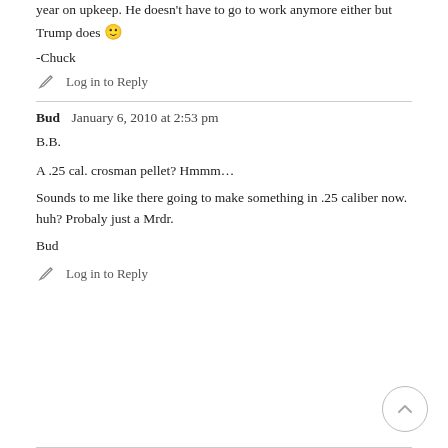year on upkeep. He doesn't have to go to work anymore either but Trump does 🙂
-Chuck
Log in to Reply
Bud   January 6, 2010 at 2:53 pm
B.B.
A .25 cal. crosman pellet? Hmmm…
Sounds to me like there going to make something in .25 caliber now. huh? Probaly just a Mrdr.
Bud
Log in to Reply